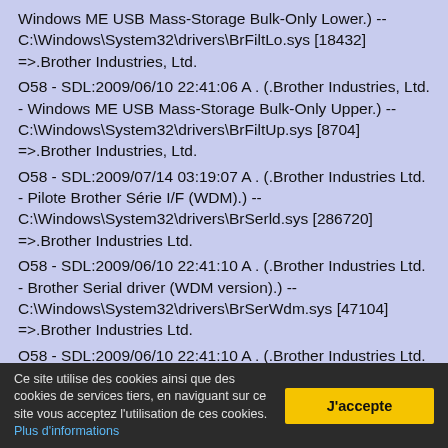Windows ME USB Mass-Storage Bulk-Only Lower.) -- C:\Windows\System32\drivers\BrFiltLo.sys [18432] =>.Brother Industries, Ltd.
O58 - SDL:2009/06/10 22:41:06 A . (.Brother Industries, Ltd. - Windows ME USB Mass-Storage Bulk-Only Upper.) -- C:\Windows\System32\drivers\BrFiltUp.sys [8704] =>.Brother Industries, Ltd.
O58 - SDL:2009/07/14 03:19:07 A . (.Brother Industries Ltd. - Pilote Brother Série I/F (WDM).) -- C:\Windows\System32\drivers\BrSerld.sys [286720] =>.Brother Industries Ltd.
O58 - SDL:2009/06/10 22:41:10 A . (.Brother Industries Ltd. - Brother Serial driver (WDM version).) -- C:\Windows\System32\drivers\BrSerWdm.sys [47104] =>.Brother Industries Ltd.
O58 - SDL:2009/06/10 22:41:10 A . (.Brother Industries Ltd. - Brother USB MDM Driver.) -- C:\Windows\System32\drivers\BrUsbMdm.sys [14976] =>.Brother Industries Ltd.
Ce site utilise des cookies ainsi que des cookies de services tiers, en naviguant sur ce site vous acceptez l'utilisation de ces cookies. Plus d'informations
J'accepte